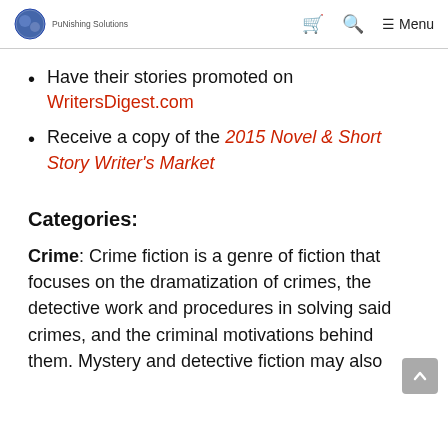PuNishing Solutions — navigation header with cart, search, menu icons
Have their stories promoted on WritersDigest.com
Receive a copy of the 2015 Novel & Short Story Writer's Market
Categories:
Crime: Crime fiction is a genre of fiction that focuses on the dramatization of crimes, the detective work and procedures in solving said crimes, and the criminal motivations behind them. Mystery and detective fiction may also